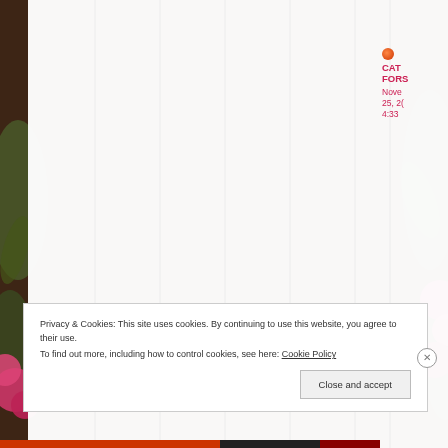[Figure (photo): Floral background with pink and red flowers and green foliage, partially obscured by white content area with vertical gray stripes]
CAT FORSY November 25, 20 4:33
Privacy & Cookies: This site uses cookies. By continuing to use this website, you agree to their use.
To find out more, including how to control cookies, see here: Cookie Policy
Close and accept